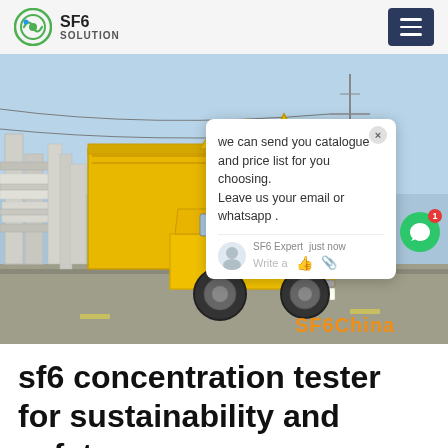SF6 SOLUTION
[Figure (photo): Yellow ISUZU truck parked at an industrial/electrical substation with large white transformer equipment visible on the left. A chat popup overlay is visible on the right side of the image with text: 'we can send you catalogue and price list for you choosing. Leave us your email or whatsapp .' Signed by SF6 Expert just now. A green chat bubble button with badge '1' is on the far right. Watermark text 'SF6China' in orange at bottom right.]
sf6 concentration tester for sustainability and safety